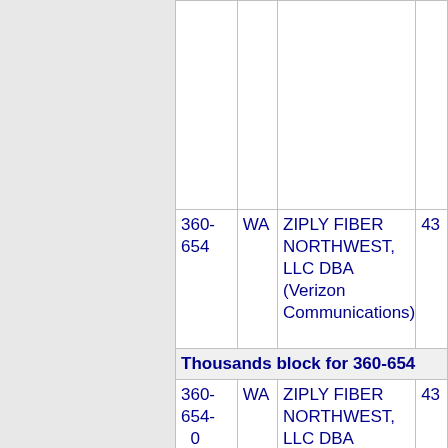| NPA-NXX | ST | Company Name | OCN |
| --- | --- | --- | --- |
| 360-654 | WA | ZIPLY FIBER NORTHWEST, LLC DBA (Verizon Communications) | 43 |
| Thousands block for 360-654 |  |  |  |
| 360-654-0 | WA | ZIPLY FIBER NORTHWEST, LLC DBA (Verizon Communications) | 43 |